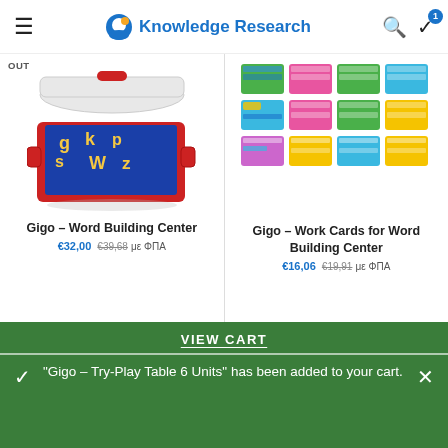Knowledge Research
[Figure (photo): Red plastic storage box with blue alphabet letter tiles inside, lid open, on white background. 'OUT' label in top-left corner.]
Gigo – Word Building Center
€32,00 €39,68 με ΦΠΑ
[Figure (photo): Grid of 12 colorful educational work cards on green and pink and blue and yellow backgrounds with icons and text.]
Gigo – Work Cards for Word Building Center
€16,06 €19,91 με ΦΠΑ
We use cookies to improve your experience on our website. By browsing this website, you agree to our
VIEW CART
"Gigo – Try-Play Table 6 Units" has been added to your cart.